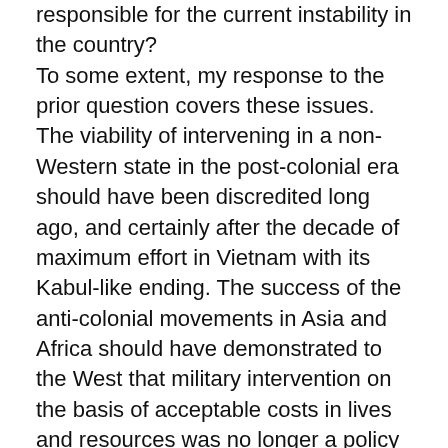responsible for the current instability in the country? To some extent, my response to the prior question covers these issues. The viability of intervening in a non-Western state in the post-colonial era should have been discredited long ago, and certainly after the decade of maximum effort in Vietnam with its Kabul-like ending. The success of the anti-colonial movements in Asia and Africa should have demonstrated to the West that military intervention on the basis of acceptable costs in lives and resources was no longer a policy option, however great the temptation, however strong the insider pressures of special mercenary interests, and however deep the geopolitical memories of 'the good old days' when the West could intervene at will confident of a high rate of success (with the ironic exception of Afghanistan that proved unconquerable even in colonial times!). The result of such post-colonial missions, mainly led by the U.S., is their eventual failure